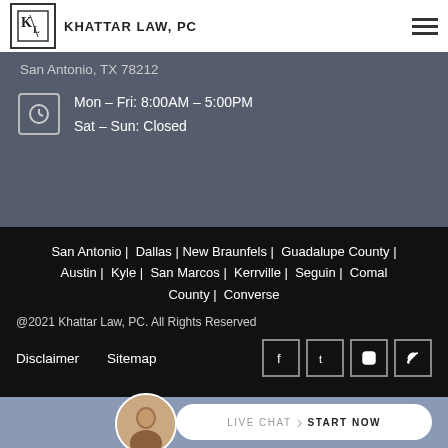Khattar Law, PC
San Antonio, TX 78212
Mon – Fri: 8:00AM – 5:00PM
Sat – Sun: Closed
San Antonio | Dallas | New Braunfels | Guadalupe County | Austin | Kyle | San Marcos | Kerrville | Seguin | Comal County | Converse
@2021 Khattar Law, PC. All Rights Reserved
Disclaimer    Sitemap
[Figure (other): Social media icons: Facebook, Twitter, Instagram, RSS feed]
[Figure (other): Live chat button with avatar: LIVE CHAT > START NOW]